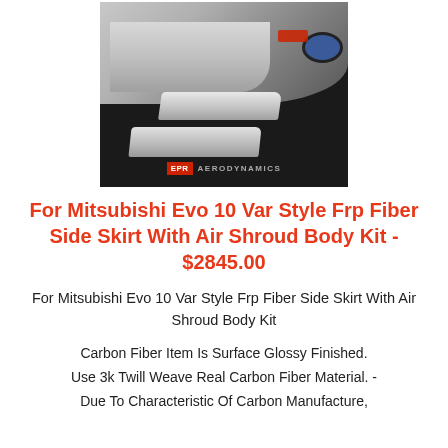[Figure (photo): Product photo showing a white Mitsubishi Evo 10 car side skirt with air shroud body kit pieces on dark background, EPR Aerodynamics logo at bottom]
For Mitsubishi Evo 10 Var Style Frp Fiber Side Skirt With Air Shroud Body Kit - $2845.00
For Mitsubishi Evo 10 Var Style Frp Fiber Side Skirt With Air Shroud Body Kit
Carbon Fiber Item Is Surface Glossy Finished. Use 3k Twill Weave Real Carbon Fiber Material. - Due To Characteristic Of Carbon Manufacture,